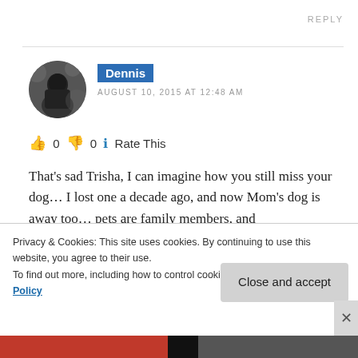REPLY
[Figure (photo): Circular black and white avatar photo of a person from behind against a blurred background]
Dennis
AUGUST 10, 2015 AT 12:48 AM
👍 0 👎 0 ℹ Rate This
That's sad Trisha, I can imagine how you still miss your dog… I lost one a decade ago, and now Mom's dog is away too… pets are family members, and
Privacy & Cookies: This site uses cookies. By continuing to use this website, you agree to their use.
To find out more, including how to control cookies, see here: Cookie Policy
Close and accept